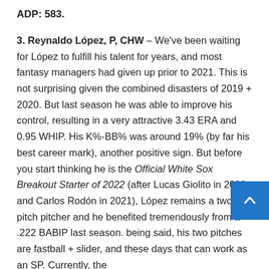ADP: 583.
3. Reynaldo López, P, CHW – We've been waiting for López to fulfill his talent for years, and most fantasy managers had given up prior to 2021. This is not surprising given the combined disasters of 2019 + 2020. But last season he was able to improve his control, resulting in a very attractive 3.43 ERA and 0.95 WHIP. His K%-BB% was around 19% (by far his best career mark), another positive sign. But before you start thinking he is the Official White Sox Breakout Starter of 2022 (after Lucas Giolito in 2020 and Carlos Rodón in 2021), López remains a two-pitch pitcher and he benefited tremendously from a .222 BABIP last season. being said, his two pitches are fastball + slider, and these days that can work as an SP. Currently, the